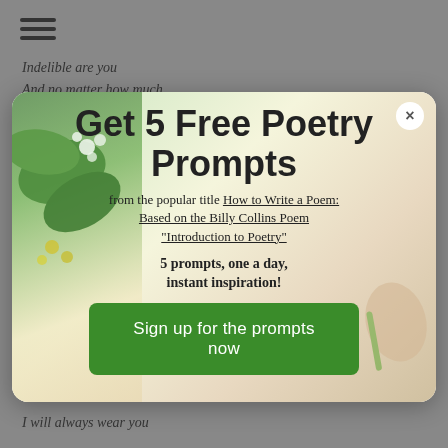≡
Indelible are you
And no matter how much
[Figure (screenshot): Modal popup with floral background showing poetry prompts offer. Contains title 'Get 5 Free Poetry Prompts', subtitle text referencing 'How to Write a Poem: Based on the Billy Collins Poem "Introduction to Poetry"', promotional text '5 prompts, one a day, instant inspiration!', and a green CTA button 'Sign up for the prompts now'. A close (×) button appears in the top right corner.]
I will always wear you
I will not fold you tight or
But you are a dot you